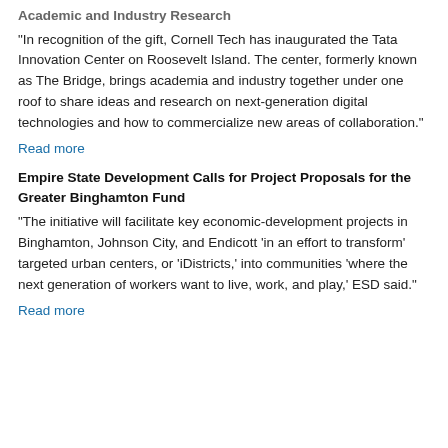Academic and Industry Research
“In recognition of the gift, Cornell Tech has inaugurated the Tata Innovation Center on Roosevelt Island. The center, formerly known as The Bridge, brings academia and industry together under one roof to share ideas and research on next-generation digital technologies and how to commercialize new areas of collaboration.”
Read more
Empire State Development Calls for Project Proposals for the Greater Binghamton Fund
“The initiative will facilitate key economic-development projects in Binghamton, Johnson City, and Endicott ‘in an effort to transform’ targeted urban centers, or ‘iDistricts,’ into communities ‘where the next generation of workers want to live, work, and play,’ ESD said.”
Read more